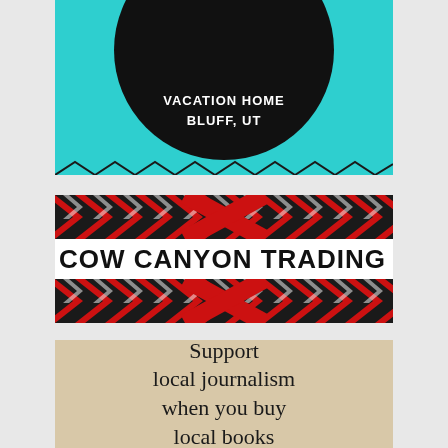[Figure (advertisement): Vacation Home Bluff, UT advertisement with teal background and black circle logo]
[Figure (advertisement): Cow Canyon Trading Post banner with red and black chevron/arrow pattern borders]
[Figure (advertisement): Support local journalism when you buy local books, tan background with serif text]